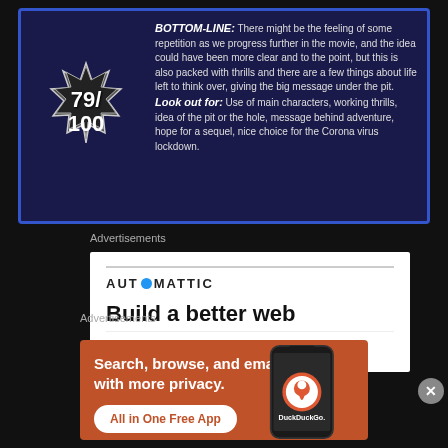[Figure (other): Movie review score badge showing 79/100 in a starburst shape on a dark blue background, with review text including BOTTOM-LINE and Look out for sections]
BOTTOM-LINE: There might be the feeling of some repetition as we progress further in the movie, and the idea could have been more clear and to the point, but this is also packed with thrills and there are a few things about life left to think over, giving the big message under the pit.
Look out for: Use of main characters, working thrills, idea of the pit or the hole, message behind adventure, hope for a sequel, nice choice for the Corona virus lockdown.
Advertisements
[Figure (screenshot): Automattic advertisement showing logo with blue circle O and tagline 'Build a better web']
Advertisements
[Figure (screenshot): DuckDuckGo advertisement with orange background showing 'Search, browse, and email with more privacy. All in One Free App' with phone mockup and DuckDuckGo logo]